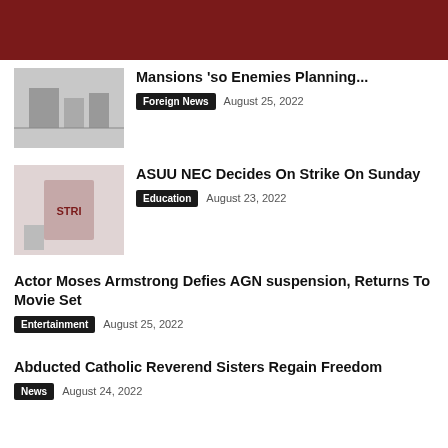[Figure (photo): Dark red header bar at top of page]
Mansions 'so Enemies Planning...
Foreign News  August 25, 2022
[Figure (photo): Thumbnail image related to ASUU strike news]
ASUU NEC Decides On Strike On Sunday
Education  August 23, 2022
Actor Moses Armstrong Defies AGN suspension, Returns To Movie Set
Entertainment  August 25, 2022
Abducted Catholic Reverend Sisters Regain Freedom
News  August 24, 2022
Abductors No Longer Reachable – NURTW Chieftain's Wife